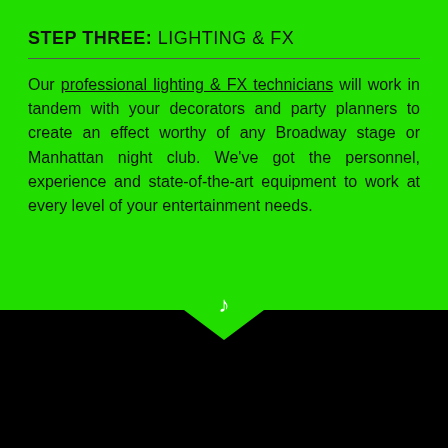STEP THREE: LIGHTING & FX
Our professional lighting & FX technicians will work in tandem with your decorators and party planners to create an effect worthy of any Broadway stage or Manhattan night club. We've got the personnel, experience and state-of-the-art equipment to work at every level of your entertainment needs.
[Figure (illustration): Green downward-pointing chevron arrow with a white music note icon, transitioning from green background to black background section.]